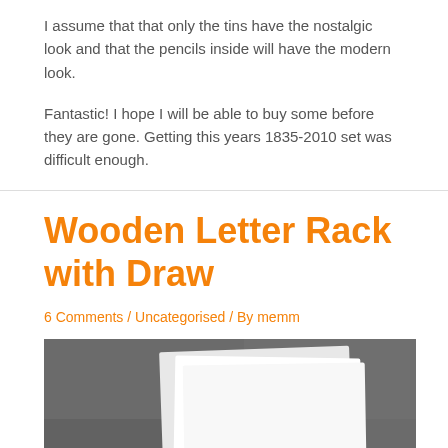I assume that that only the tins have the nostalgic look and that the pencils inside will have the modern look.
Fantastic! I hope I will be able to buy some before they are gone. Getting this years 1835-2010 set was difficult enough.
Wooden Letter Rack with Draw
6 Comments / Uncategorised / By memm
[Figure (photo): Photo of a wooden letter rack in dark red/brown color with white papers/envelopes stacked on top of it, against a dark blurred background.]